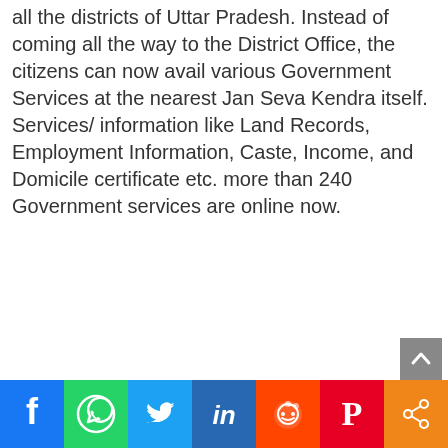all the districts of Uttar Pradesh. Instead of coming all the way to the District Office, the citizens can now avail various Government Services at the nearest Jan Seva Kendra itself. Services/ information like Land Records, Employment Information, Caste, Income, and Domicile certificate etc. more than 240 Government services are online now.
[Figure (infographic): Social media sharing bar with icons: Facebook (blue), WhatsApp (green), Twitter (light blue), LinkedIn (dark blue), Reddit (orange-red), Pinterest (red), Share (orange)]